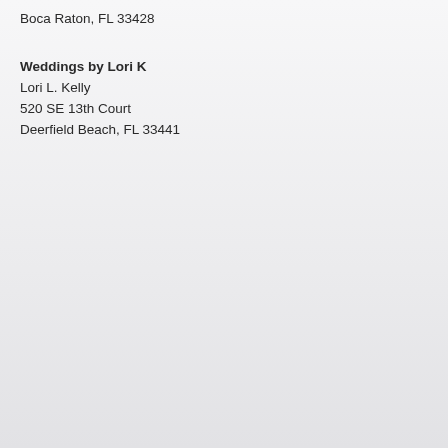Boca Raton, FL 33428
Weddings by Lori K
Lori L. Kelly
520 SE 13th Court
Deerfield Beach, FL 33441